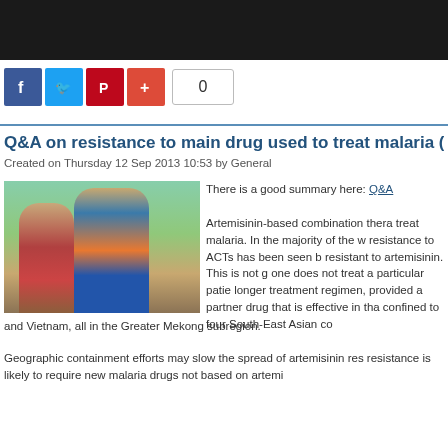[Figure (photo): Black header navigation bar at top of webpage]
[Figure (infographic): Social media sharing buttons: Facebook (blue), Twitter (blue), Pinterest (red), Plus (orange-red), and a share count box showing 0]
Q&A on resistance to main drug used to treat malaria (
Created on Thursday 12 Sep 2013 10:53 by General
[Figure (photo): Three African children standing outdoors near trees]
There is a good summary here: Q&A

Artemisinin-based combination thera... treat malaria. In the majority of the w... resistance to ACTs has been seen b... resistant to artemisinin. This is not g... one does not treat a particular patie... longer treatment regimen, provided... a partner drug that is effective in tha... confined to four South-East Asian co... and Vietnam, all in the Greater Mekong subregion.
Geographic containment efforts may slow the spread of artemisinin res... resistance is likely to require new malaria drugs not based on artemi...